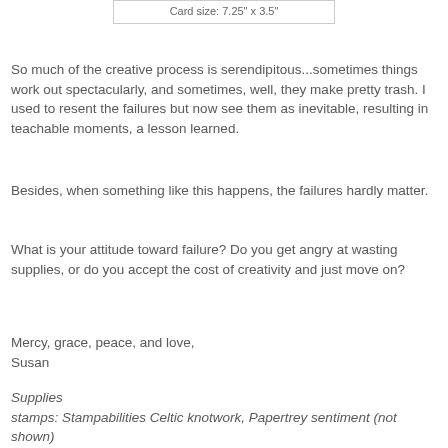Card size: 7.25" x 3.5"
So much of the creative process is serendipitous...sometimes things work out spectacularly, and sometimes, well, they make pretty trash. I used to resent the failures but now see them as inevitable, resulting in teachable moments, a lesson learned.
Besides, when something like this happens, the failures hardly matter.
What is your attitude toward failure? Do you get angry at wasting supplies, or do you accept the cost of creativity and just move on?
Mercy, grace, peace, and love,
Susan
Supplies
stamps: Stampabilities Celtic knotwork, Papertrey sentiment (not shown)